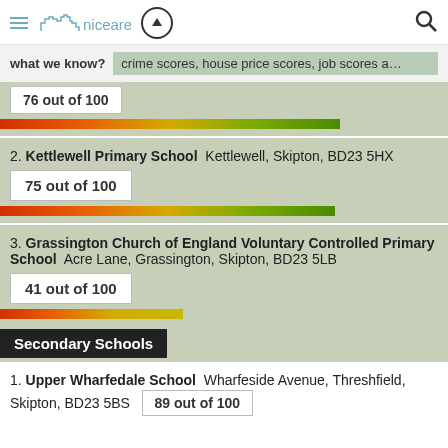niceareas
what we know?   crime scores, house price scores, job scores a…
76 out of 100
2. Kettlewell Primary School   Kettlewell, Skipton, BD23 5HX
75 out of 100
3. Grassington Church of England Voluntary Controlled Primary School   Acre Lane, Grassington, Skipton, BD23 5LB
41 out of 100
Secondary Schools
1. Upper Wharfedale School   Wharfeside Avenue, Threshfield, Skipton, BD23 5BS   89 out of 100